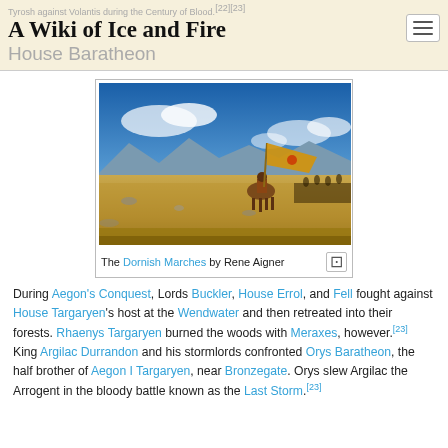Tyrosh against Volantis during the Century of Blood.[22][23]
A Wiki of Ice and Fire
House Baratheon
[Figure (photo): The Dornish Marches by Rene Aigner — a painted landscape scene showing a lone horseman carrying a golden banner on a golden grass plain under a blue sky with mountains in the background and an army in the far distance.]
The Dornish Marches by Rene Aigner
During Aegon's Conquest, Lords Buckler, House Errol, and Fell fought against House Targaryen's host at the Wendwater and then retreated into their forests. Rhaenys Targaryen burned the woods with Meraxes, however.[23] King Argilac Durrandon and his stormlords confronted Orys Baratheon, the half brother of Aegon I Targaryen, near Bronzegate. Orys slew Argilac the Arrogent in the bloody battle known as the Last Storm.[23]